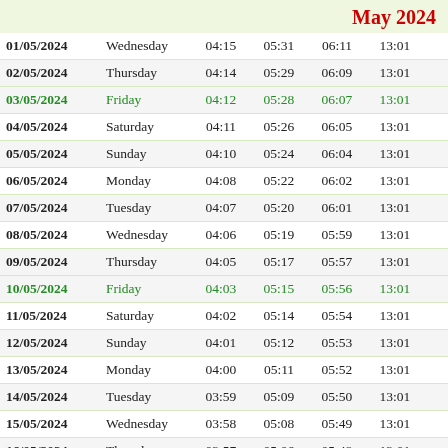May 2024
| Date | Day | Col3 | Col4 | Col5 | Col6 | Col7 |
| --- | --- | --- | --- | --- | --- | --- |
| 01/05/2024 | Wednesday | 04:15 | 05:31 | 06:11 | 13:01 | 1 |
| 02/05/2024 | Thursday | 04:14 | 05:29 | 06:09 | 13:01 | 1 |
| 03/05/2024 | Friday | 04:12 | 05:28 | 06:07 | 13:01 | 1 |
| 04/05/2024 | Saturday | 04:11 | 05:26 | 06:05 | 13:01 | 1 |
| 05/05/2024 | Sunday | 04:10 | 05:24 | 06:04 | 13:01 | 1 |
| 06/05/2024 | Monday | 04:08 | 05:22 | 06:02 | 13:01 | 1 |
| 07/05/2024 | Tuesday | 04:07 | 05:20 | 06:01 | 13:01 | 1 |
| 08/05/2024 | Wednesday | 04:06 | 05:19 | 05:59 | 13:01 | 1 |
| 09/05/2024 | Thursday | 04:05 | 05:17 | 05:57 | 13:01 | 1 |
| 10/05/2024 | Friday | 04:03 | 05:15 | 05:56 | 13:01 | 1 |
| 11/05/2024 | Saturday | 04:02 | 05:14 | 05:54 | 13:01 | 1 |
| 12/05/2024 | Sunday | 04:01 | 05:12 | 05:53 | 13:01 | 1 |
| 13/05/2024 | Monday | 04:00 | 05:11 | 05:52 | 13:01 | 1 |
| 14/05/2024 | Tuesday | 03:59 | 05:09 | 05:50 | 13:01 | 1 |
| 15/05/2024 | Wednesday | 03:58 | 05:08 | 05:49 | 13:01 | 1 |
| 16/05/2024 | Thursday | 03:57 | 05:06 | 05:48 | 13:01 | 1 |
| 17/05/2024 | Friday | 03:56 | 05:05 | 05:46 | 13:01 | 1 |